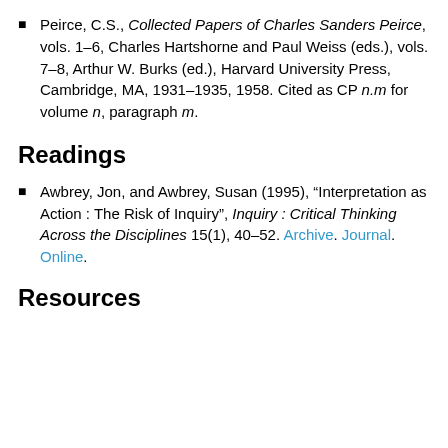Peirce, C.S., Collected Papers of Charles Sanders Peirce, vols. 1–6, Charles Hartshorne and Paul Weiss (eds.), vols. 7–8, Arthur W. Burks (ed.), Harvard University Press, Cambridge, MA, 1931–1935, 1958. Cited as CP n.m for volume n, paragraph m.
Readings
Awbrey, Jon, and Awbrey, Susan (1995), “Interpretation as Action : The Risk of Inquiry”, Inquiry : Critical Thinking Across the Disciplines 15(1), 40–52. Archive. Journal. Online.
Resources